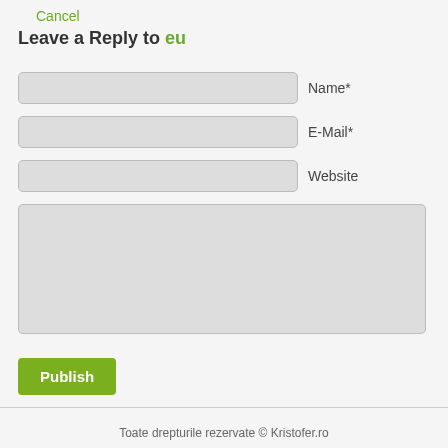Cancel
Leave a Reply to eu
[Figure (screenshot): Web form with three text input fields labeled Name*, E-Mail*, and Website, followed by a large textarea for comment input, and a green Publish button.]
Toate drepturile rezervate © Kristofer.ro